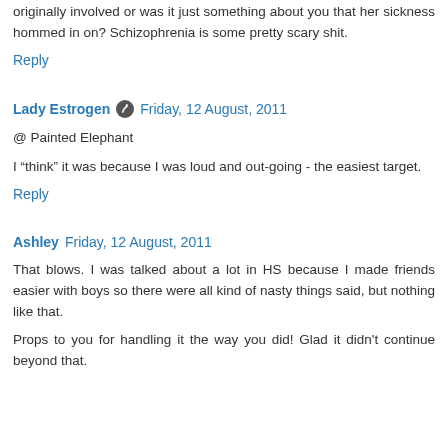originally involved or was it just something about you that her sickness hommed in on? Schizophrenia is some pretty scary shit.
Reply
Lady Estrogen  Friday, 12 August, 2011
@ Painted Elephant
I "think" it was because I was loud and out-going - the easiest target.
Reply
Ashley  Friday, 12 August, 2011
That blows. I was talked about a lot in HS because I made friends easier with boys so there were all kind of nasty things said, but nothing like that.
Props to you for handling it the way you did! Glad it didn't continue beyond that.